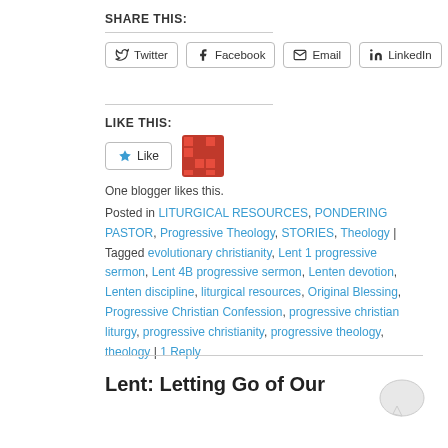SHARE THIS:
Twitter | Facebook | Email | LinkedIn
LIKE THIS:
One blogger likes this.
Posted in LITURGICAL RESOURCES, PONDERING PASTOR, Progressive Theology, STORIES, Theology | Tagged evolutionary christianity, Lent 1 progressive sermon, Lent 4B progressive sermon, Lenten devotion, Lenten discipline, liturgical resources, Original Blessing, Progressive Christian Confession, progressive christian liturgy, progressive christianity, progressive theology, theology | 1 Reply
Lent: Letting Go of Our